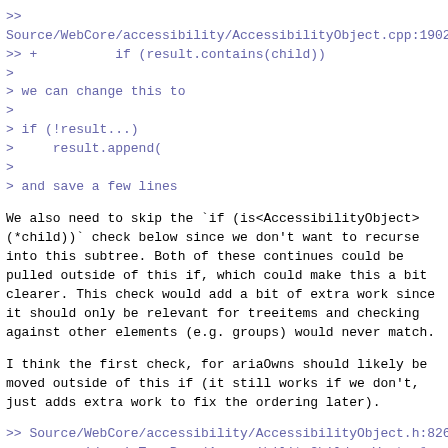>>
Source/WebCore/accessibility/AccessibilityObject.cpp:1902
>> +          if (result.contains(child))
>
> we can change this to
>
> if (!result...)
>     result.append(
>
> and save a few lines
We also need to skip the `if (is<AccessibilityObject>(*child))` check below since we don't want to recurse into this subtree. Both of these continues could be pulled outside of this if, which could make this a bit clearer. This check would add a bit of extra work since it should only be relevant for treeitems and checking against other elements (e.g. groups) would never match.
I think the first check, for ariaOwns should likely be moved outside of this if (it still works if we don't, just adds extra work to fix the ordering later).
>> Source/WebCore/accessibility/AccessibilityObject.h:826
>> +    void ariaTreeRows(AccessibilityChildrenVector& result, AccessibilityChildrenVector& ancestors);
>
> instead of result I think param could be named "rows"